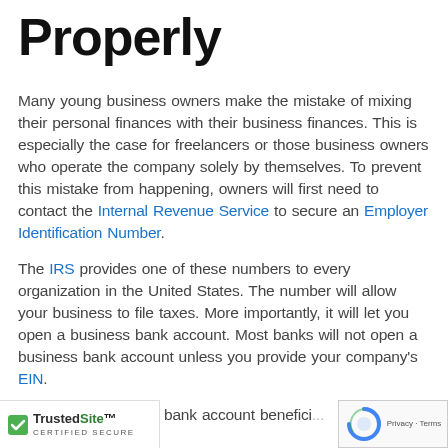Properly
Many young business owners make the mistake of mixing their personal finances with their business finances. This is especially the case for freelancers or those business owners who operate the company solely by themselves. To prevent this mistake from happening, owners will first need to contact the Internal Revenue Service to secure an Employer Identification Number.
The IRS provides one of these numbers to every organization in the United States. The number will allow your business to file taxes. More importantly, it will let you open a business bank account. Most banks will not open a business bank account unless you provide your company's EIN.
s will find a business bank account benefici...